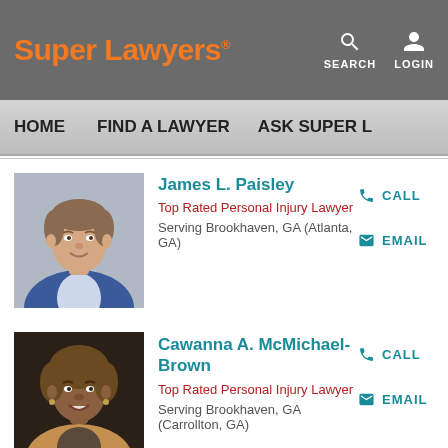Super Lawyers
SEARCH LOGIN
HOME   FIND A LAWYER   ASK SUPER L
James L. Paisley
Top Rated Personal Injury Lawyer
Serving Brookhaven, GA (Atlanta, GA)
CALL
EMAIL
[Figure (photo): Headshot of James L. Paisley, a man in a blue blazer]
Cawanna A. McMichael-Brown
Top Rated Personal Injury Lawyer
Serving Brookhaven, GA (Carrollton, GA)
CALL
EMAIL
[Figure (photo): Headshot of Cawanna A. McMichael-Brown, a woman with curly hair]